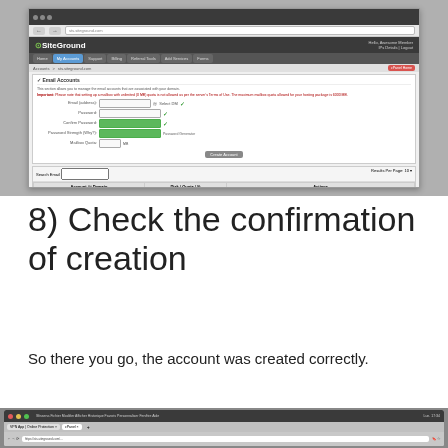[Figure (screenshot): SiteGround control panel showing Email Accounts section with form fields and a table listing email accounts with actions like Change Password, Change Quota, Delete, More]
8) Check the confirmation of creation
So there you go, the account was created correctly.
[Figure (screenshot): Bottom portion of a browser window screenshot, partially visible]